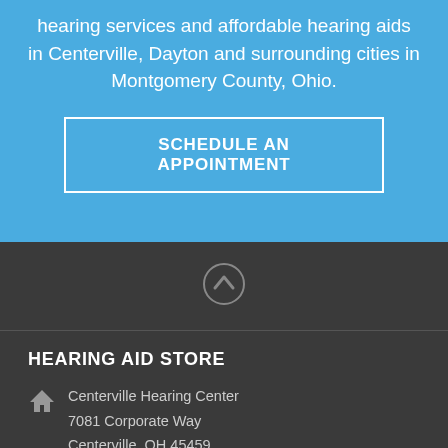hearing services and affordable hearing aids in Centerville, Dayton and surrounding cities in Montgomery County, Ohio.
SCHEDULE AN APPOINTMENT
[Figure (illustration): Chevron/up-arrow icon inside a circle on dark gray background]
HEARING AID STORE
Centerville Hearing Center
7081 Corporate Way
Centerville, OH 45459